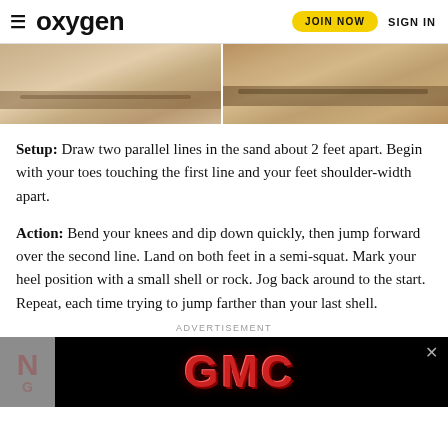oxygen | JOIN NOW | SIGN IN
[Figure (photo): Two side-by-side photos of sand with lines drawn in it, showing a beach or sandy surface.]
Setup: Draw two parallel lines in the sand about 2 feet apart. Begin with your toes touching the first line and your feet shoulder-width apart.
Action: Bend your knees and dip down quickly, then jump forward over the second line. Land on both feet in a semi-squat. Mark your heel position with a small shell or rock. Jog back around to the start. Repeat, each time trying to jump farther than your last shell.
ADVERTISEMENT
[Figure (photo): GMC advertisement banner on black background with large red GMC logo text.]